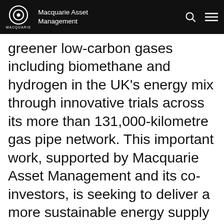Macquarie Asset Management
greener low-carbon gases including biomethane and hydrogen in the UK's energy mix through innovative trials across its more than 131,000-kilometre gas pipe network. This important work, supported by Macquarie Asset Management and its co-investors, is seeking to deliver a more sustainable energy supply for the millions of customers that rely on Cadent's network each day.